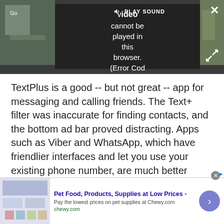[Figure (screenshot): Video player screenshot showing a dark background with a video that cannot be played. Text overlay reads: 'PLAY SOUND Video cannot be played in this browser. (Error Cod'. A close (X) button is at top-right and an expand icon at bottom-right.]
TextPlus is a good -- but not great -- app for messaging and calling friends. The Text+ filter was inaccurate for finding contacts, and the bottom ad bar proved distracting. Apps such as Viber and WhatsApp, which have friendlier interfaces and let you use your existing phone number, are much better options for messaging and sharing photos and videos.
Best Apps 2013
[Figure (screenshot): Advertisement bar at bottom: Chewy.com ad showing 'Pet Food, Products, Supplies at Low Prices - Pay the lowest prices on pet supplies at Chewy.com, chewy.com'. Has a purple arrow button on the right.]